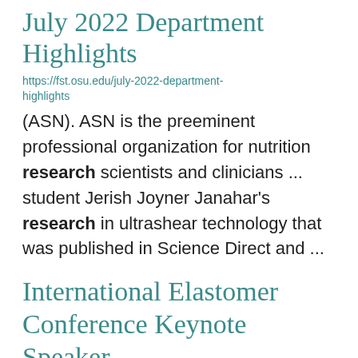July 2022 Department Highlights
https://fst.osu.edu/july-2022-department-highlights
(ASN). ASN is the preeminent professional organization for nutrition research scientists and clinicians ... student Jerish Joyner Janahar's research in ultrashear technology that was published in Science Direct and ...
International Elastomer Conference Keynote Speaker
https://biomerg.osu.edu/news/international-elastomer-conference-keynote-speaker-1
State University. Her research is focusing on the integration of breast cancer